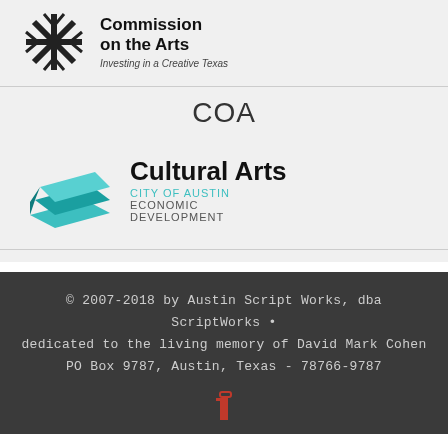[Figure (logo): Texas Commission on the Arts star logo with text 'Commission on the Arts – Investing in a Creative Texas']
COA
[Figure (logo): City of Austin Cultural Arts Economic Development logo with teal stacked geometric shape]
© 2007-2018 by Austin Script Works, dba ScriptWorks • dedicated to the living memory of David Mark Cohen PO Box 9787, Austin, Texas - 78766-9787